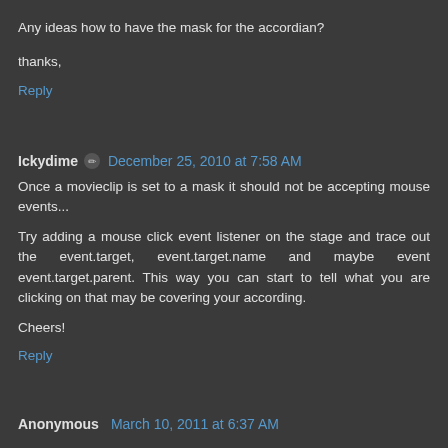Any ideas how to have the mask for the accordian?
thanks,
Reply
Ickydime ✏ December 25, 2010 at 7:58 AM
Once a movieclip is set to a mask it should not be accepting mouse events...
Try adding a mouse click event listener on the stage and trace out the event.target, event.target.name and maybe event event.target.parent. This way you can start to tell what you are clicking on that may be covering your according.
Cheers!
Reply
Anonymous March 10, 2011 at 6:37 AM